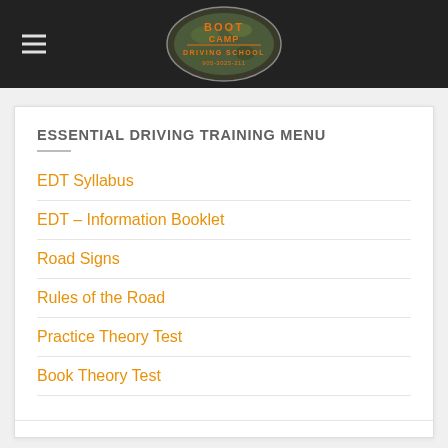Boot Camp Driving School
ESSENTIAL DRIVING TRAINING MENU
EDT Syllabus
EDT – Information Booklet
Road Signs
Rules of the Road
Practice Theory Test
Book Theory Test